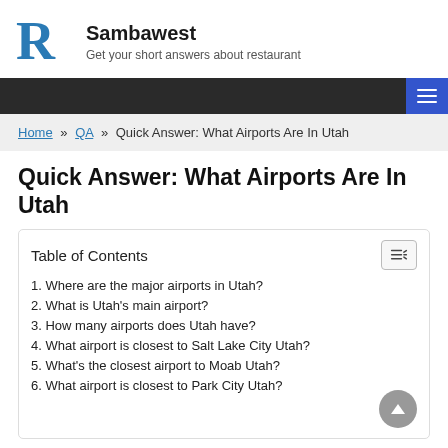Sambawest — Get your short answers about restaurant
Quick Answer: What Airports Are In Utah
Home » QA » Quick Answer: What Airports Are In Utah
Quick Answer: What Airports Are In Utah
Table of Contents
1. Where are the major airports in Utah?
2. What is Utah's main airport?
3. How many airports does Utah have?
4. What airport is closest to Salt Lake City Utah?
5. What's the closest airport to Moab Utah?
6. What airport is closest to Park City Utah?